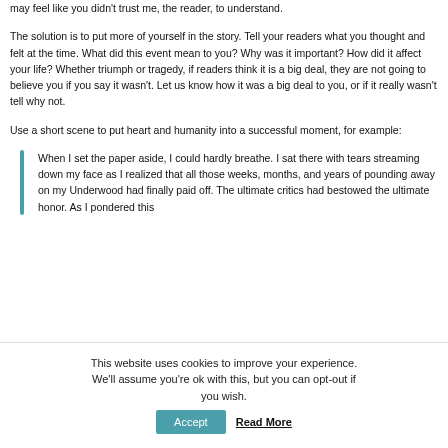may feel like you didn't trust me, the reader, to understand.
The solution is to put more of yourself in the story. Tell your readers what you thought and felt at the time. What did this event mean to you? Why was it important? How did it affect your life? Whether triumph or tragedy, if readers think it is a big deal, they are not going to believe you if you say it wasn't. Let us know how it was a big deal to you, or if it really wasn't tell why not.
Use a short scene to put heart and humanity into a successful moment, for example:
When I set the paper aside, I could hardly breathe. I sat there with tears streaming down my face as I realized that all those weeks, months, and years of pounding away on my Underwood had finally paid off. The ultimate critics had bestowed the ultimate honor. As I pondered this
This website uses cookies to improve your experience. We'll assume you're ok with this, but you can opt-out if you wish.